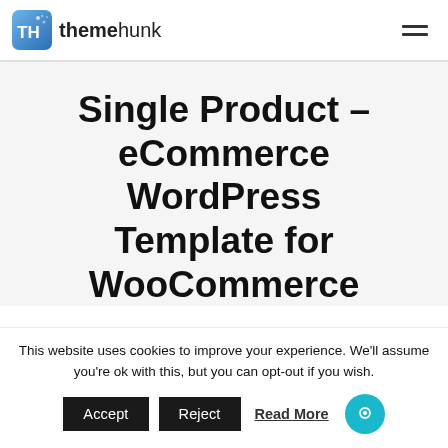themehunk
Single Product - eCommerce WordPress Template for WooCommerce
This website uses cookies to improve your experience. We'll assume you're ok with this, but you can opt-out if you wish.